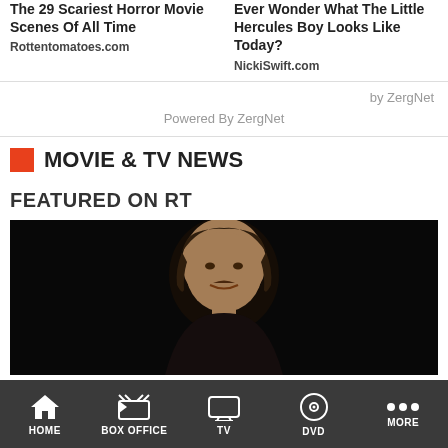The 29 Scariest Horror Movie Scenes Of All Time
Rottentomatoes.com
Ever Wonder What The Little Hercules Boy Looks Like Today?
NickiSwift.com
by ZergNet
Powered By ZergNet
MOVIE & TV NEWS
FEATURED ON RT
[Figure (photo): Photo of a man with dark hair and mustache against dark background, featured video thumbnail]
HOME | BOX OFFICE | TV | DVD | MORE